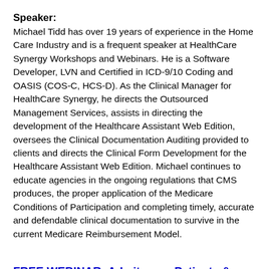Speaker:
Michael Tidd has over 19 years of experience in the Home Care Industry and is a frequent speaker at HealthCare Synergy Workshops and Webinars. He is a Software Developer, LVN and Certified in ICD-9/10 Coding and OASIS (COS-C, HCS-D). As the Clinical Manager for HealthCare Synergy, he directs the Outsourced Management Services, assists in directing the development of the Healthcare Assistant Web Edition, oversees the Clinical Documentation Auditing provided to clients and directs the Clinical Form Development for the Healthcare Assistant Web Edition. Michael continues to educate agencies in the ongoing regulations that CMS produces, the proper application of the Medicare Conditions of Participation and completing timely, accurate and defendable clinical documentation to survive in the current Medicare Reimbursement Model.
FREE WEBINAR: Admit more Patients & Stop Nursing Burnout!